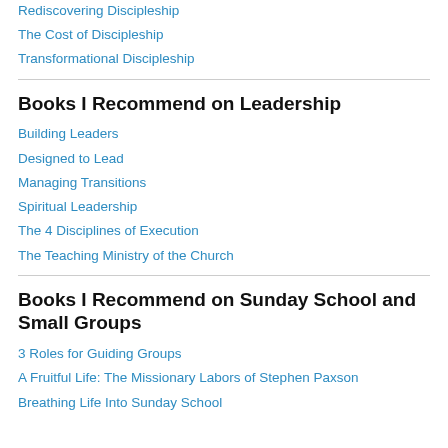Rediscovering Discipleship
The Cost of Discipleship
Transformational Discipleship
Books I Recommend on Leadership
Building Leaders
Designed to Lead
Managing Transitions
Spiritual Leadership
The 4 Disciplines of Execution
The Teaching Ministry of the Church
Books I Recommend on Sunday School and Small Groups
3 Roles for Guiding Groups
A Fruitful Life: The Missionary Labors of Stephen Paxson
Breathing Life Into Sunday School